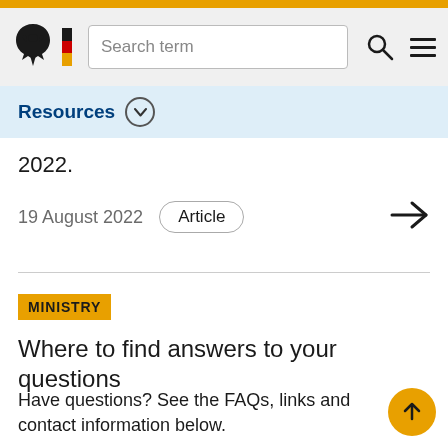Search term
Resources
2022.
19 August 2022   Article
MINISTRY
Where to find answers to your questions
Have questions? See the FAQs, links and contact information below.